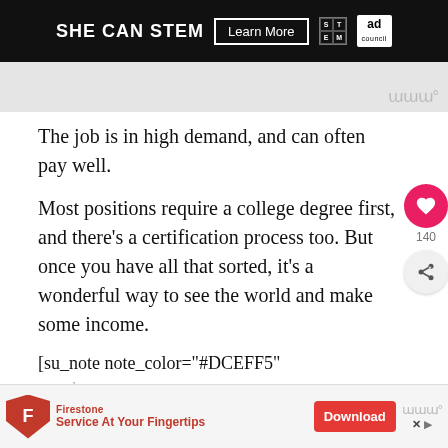[Figure (other): SHE CAN STEM advertisement banner with Learn More button, STEM logo, and Ad Council badge on black background]
[Figure (other): Gray area with Wunderman (www) icon in bottom right]
The job is in high demand, and can often pay well.
Most positions require a college degree first, and there’s a certification process too. But once you have all that sorted, it’s a wonderful way to see the world and make some income.
[su_note note_color="#DCEFF5"
[Figure (other): Firestone Service At Your Fingertips advertisement banner with Download button]
travel.